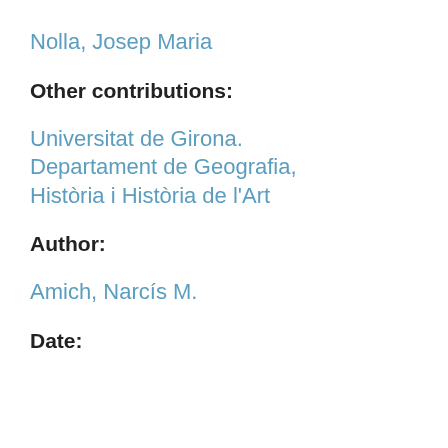Nolla, Josep Maria
Other contributions:
Universitat de Girona. Departament de Geografia, Història i Història de l'Art
Author:
Amich, Narcís M.
Date: